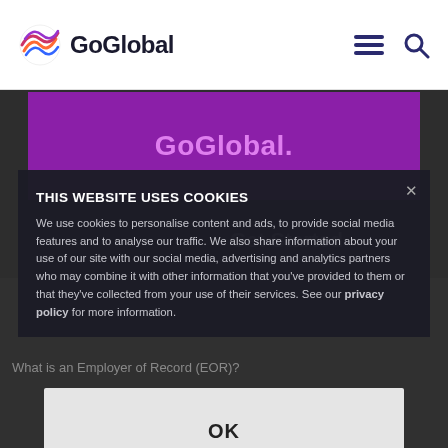[Figure (logo): GoGlobal company logo with circular globe icon and bold GoGlobal text]
[Figure (infographic): GoGlobal purple banner with stylized text 'GoGlobal.']
THIS WEBSITE USES COOKIES
We use cookies to personalise content and ads, to provide social media features and to analyse our traffic. We also share information about your use of our site with our social media, advertising and analytics partners who may combine it with other information that you’ve provided to them or that they’ve collected from your use of their services. See our privacy policy for more information.
What is an Employer of Record (EOR)?
OK
Download the Guide